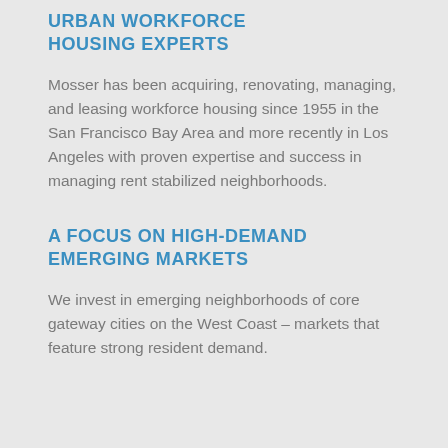URBAN WORKFORCE HOUSING EXPERTS
Mosser has been acquiring, renovating, managing, and leasing workforce housing since 1955 in the San Francisco Bay Area and more recently in Los Angeles with proven expertise and success in managing rent stabilized neighborhoods.
A FOCUS ON HIGH-DEMAND EMERGING MARKETS
We invest in emerging neighborhoods of core gateway cities on the West Coast – markets that feature strong resident demand.